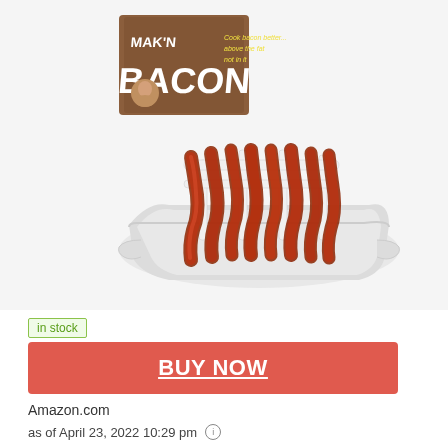[Figure (photo): Product photo of 'Mak'n Bacon' microwave bacon cooker — a white plastic tray with vertical rack holders, strips of cooked bacon draped over the rack, and the product box visible in the background showing text 'Cook bacon better... above the fat not in it']
in stock
BUY NOW
Amazon.com
as of April 23, 2022 10:29 pm